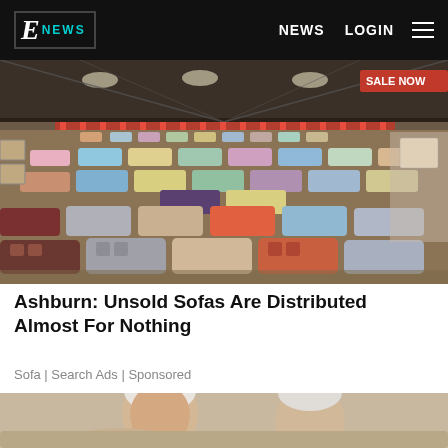E NEWS  NEWS  LOGIN
[Figure (photo): Wide-angle view of a large furniture showroom warehouse filled with rows of colorful sofas and couches on display, with 'SALE NOW' banner visible in the top right corner.]
Ashburn: Unsold Sofas Are Distributed Almost For Nothing
Sofa | Search Ads | Sponsored
[Figure (photo): Partial photo of an elderly person with white hair, seated on a light-colored sofa.]